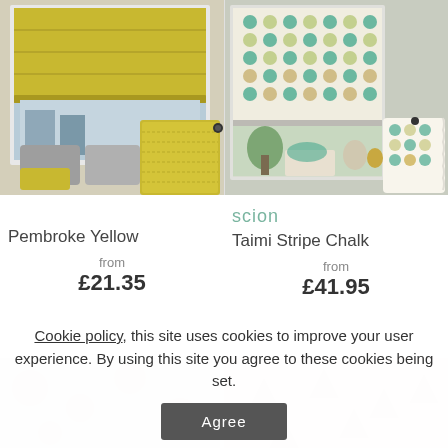[Figure (photo): Yellow roman blind in a room with grey cushions and yellow fabric swatch]
[Figure (photo): Scion Taimi Stripe Chalk roman blind with teal/green dot pattern and fabric swatch]
Pembroke Yellow
scion
Taimi Stripe Chalk
from £21.35
from £41.95
Cookie policy, this site uses cookies to improve your user experience. By using this site you agree to these cookies being set.
[Figure (photo): Partially visible bottom product images behind cookie overlay]